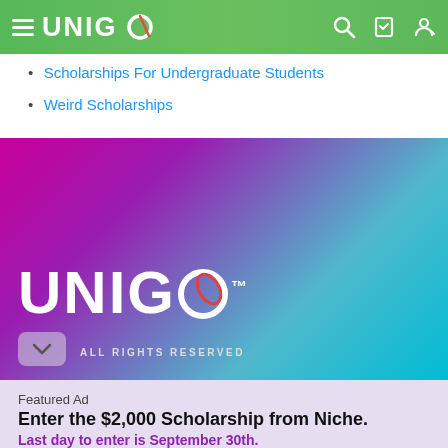UNIGO
Scholarships For Undergraduate Students
Weird Scholarships
[Figure (logo): Unigo logo on gradient magenta-to-teal banner with ALL RIGHTS RESERVED text and chevron down button]
Featured Ad
Enter the $2,000 Scholarship from Niche.
Last day to enter is September 30th.
APPLY NOW!